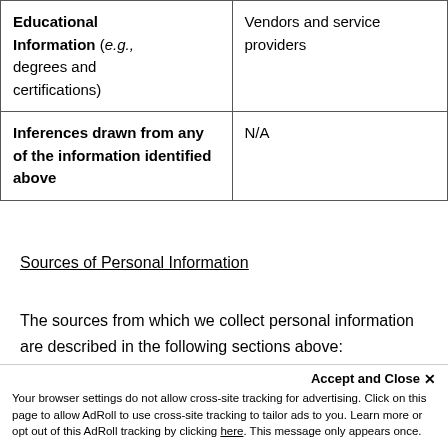| Educational Information (e.g., degrees and certifications) | Vendors and service providers |
| Inferences drawn from any of the information identified above | N/A |
Sources of Personal Information
The sources from which we collect personal information are described in the following sections above:
Information You Provide
Accept and Close ×
Your browser settings do not allow cross-site tracking for advertising. Click on this page to allow AdRoll to use cross-site tracking to tailor ads to you. Learn more or opt out of this AdRoll tracking by clicking here. This message only appears once.